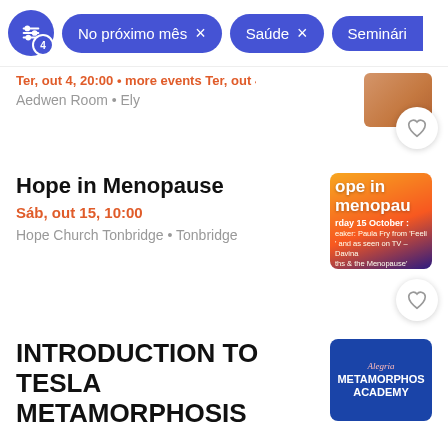No próximo mês × | Saúde × | Seminári…
Ter, out 4, 20:00 • more events
Aedwen Room • Ely
Hope in Menopause
Sáb, out 15, 10:00
Hope Church Tonbridge • Tonbridge
INTRODUCTION TO TESLA METAMORPHOSIS